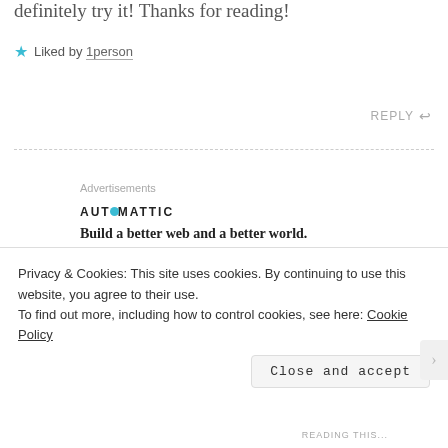definitely try it! Thanks for reading!
★ Liked by 1person
REPLY ↩
Advertisements
AUTOMATTIC
Build a better web and a better world.
Hermione says:
Privacy & Cookies: This site uses cookies. By continuing to use this website, you agree to their use.
To find out more, including how to control cookies, see here: Cookie Policy
Close and accept